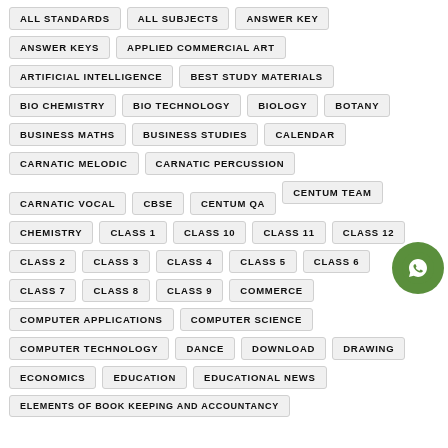ALL STANDARDS
ALL SUBJECTS
ANSWER KEY
ANSWER KEYS
APPLIED COMMERCIAL ART
ARTIFICIAL INTELLIGENCE
BEST STUDY MATERIALS
BIO CHEMISTRY
BIO TECHNOLOGY
BIOLOGY
BOTANY
BUSINESS MATHS
BUSINESS STUDIES
CALENDAR
CARNATIC MELODIC
CARNATIC PERCUSSION
CARNATIC VOCAL
CBSE
CENTUM QA
CENTUM TEAM
CHEMISTRY
CLASS 1
CLASS 10
CLASS 11
CLASS 12
CLASS 2
CLASS 3
CLASS 4
CLASS 5
CLASS 6
CLASS 7
CLASS 8
CLASS 9
COMMERCE
COMPUTER APPLICATIONS
COMPUTER SCIENCE
COMPUTER TECHNOLOGY
DANCE
DOWNLOAD
DRAWING
ECONOMICS
EDUCATION
EDUCATIONAL NEWS
ELEMENTS OF BOOK KEEPING AND ACCOUNTANCY